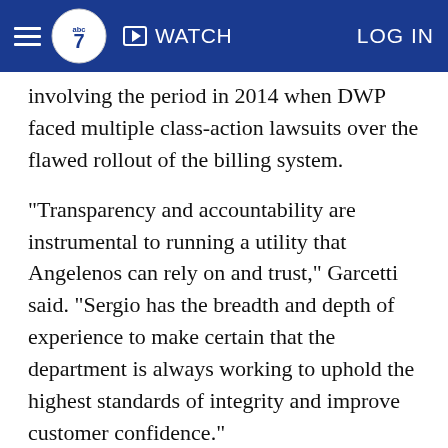ABC7 Navigation bar with logo, WATCH, and LOG IN
involving the period in 2014 when DWP faced multiple class-action lawsuits over the flawed rollout of the billing system.
"Transparency and accountability are instrumental to running a utility that Angelenos can rely on and trust," Garcetti said. "Sergio has the breadth and depth of experience to make certain that the department is always working to uphold the highest standards of integrity and improve customer confidence."
The mayor first announced that the city would create an Office of the Inspector General for the DWP in September 2019, about two months after FBI agents raided the DWP's downtown headquarters and City